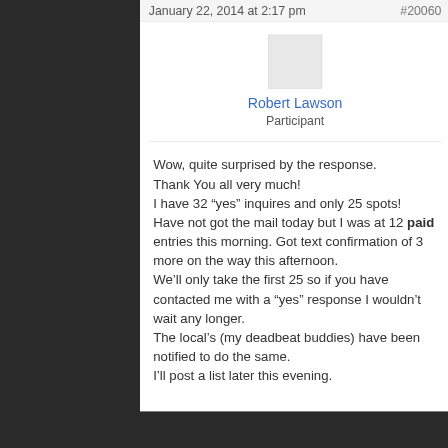January 22, 2014 at 2:17 pm   #20060
Robert Lawson
Participant
Wow, quite surprised by the response.
Thank You all very much!
I have 32 “yes” inquires and only 25 spots!
Have not got the mail today but I was at 12 paid entries this morning. Got text confirmation of 3 more on the way this afternoon.
We’ll only take the first 25 so if you have contacted me with a “yes” response I wouldn’t wait any longer.
The local’s (my deadbeat buddies) have been notified to do the same.
I’ll post a list later this evening.